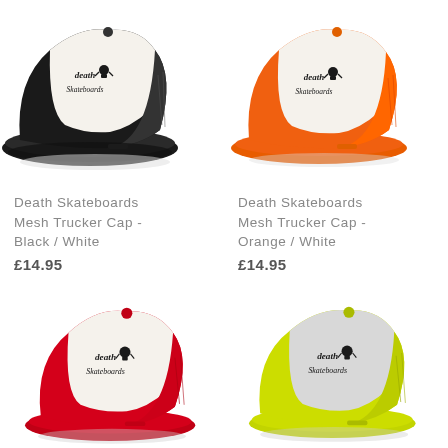[Figure (photo): Death Skateboards Mesh Trucker Cap in Black and White colorway, shown at an angle]
Death Skateboards Mesh Trucker Cap - Black / White
£14.95
[Figure (photo): Death Skateboards Mesh Trucker Cap in Orange and White colorway, shown at an angle]
Death Skateboards Mesh Trucker Cap - Orange / White
£14.95
[Figure (photo): Death Skateboards Mesh Trucker Cap in Red and White colorway, shown at an angle]
[Figure (photo): Death Skateboards Mesh Trucker Cap in Neon Yellow/Green and Grey colorway, shown at an angle]